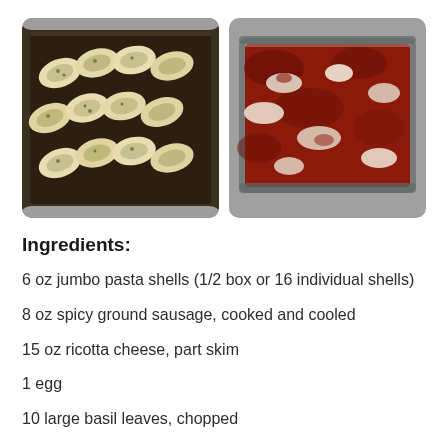[Figure (photo): Two side-by-side food photos: left shows stuffed jumbo pasta shells in a dark baking pan (uncooked, filled with cheese and herbs), right shows the finished baked stuffed shells casserole covered in red tomato sauce and melted cheese in a glass baking dish, both on a granite countertop.]
Ingredients:
6 oz jumbo pasta shells (1/2 box or 16 individual shells)
8 oz spicy ground sausage, cooked and cooled
15 oz ricotta cheese, part skim
1 egg
10 large basil leaves, chopped